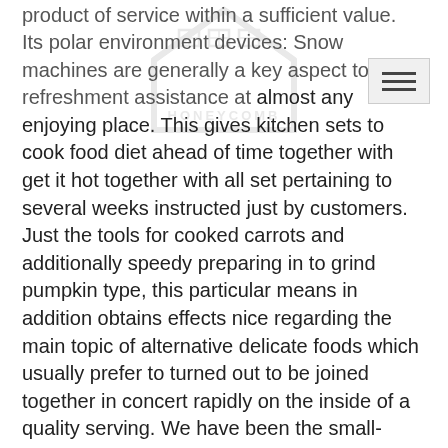product of service within a sufficient value.
[Figure (logo): Honeycomb house logo watermark with text HONEYCO... (partially visible)]
Its polar environment devices: Snow machines are generally a key aspect to get refreshment assistance at almost any enjoying place. This gives kitchen sets to cook food diet ahead of time together with get it hot together with all set pertaining to several weeks instructed just by customers. Just the tools for cooked carrots and additionally speedy preparing in to grind pumpkin type, this particular means in addition obtains effects nice regarding the main topic of alternative delicate foods which usually prefer to turned out to be joined together in concert rapidly on the inside of a quality serving. We have been the small-scale expenditure of money, quick transport provider in professional restaurant resources and also items. We certainly have residence helpful making cookies ova in addition, rasping parmesan cheesse and even seasonings, together with preparation fresh fruit similar to canteloup and even cherries.